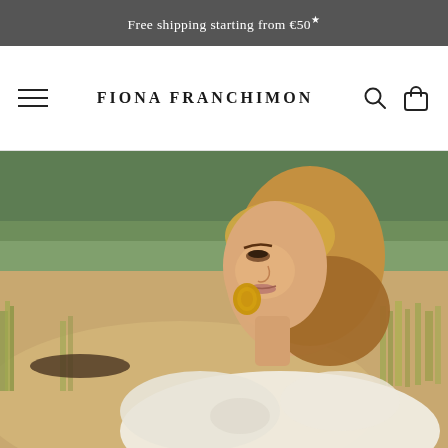Free shipping starting from €50*
Fiona Franchimon
[Figure (photo): Fashion/beauty photo of a blonde woman with a half-updo hairstyle wearing gold hoop earrings and a white lace dress, photographed outdoors at a sandy beach with dune grass and blurred green trees in the background.]